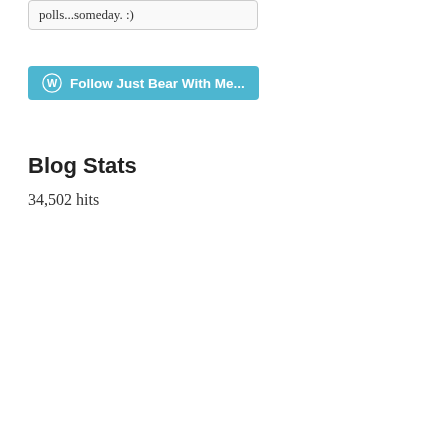polls...someday. :)
[Figure (other): WordPress Follow button: 'Follow Just Bear With Me...' in teal/cyan color with WordPress logo icon]
Blog Stats
34,502 hits